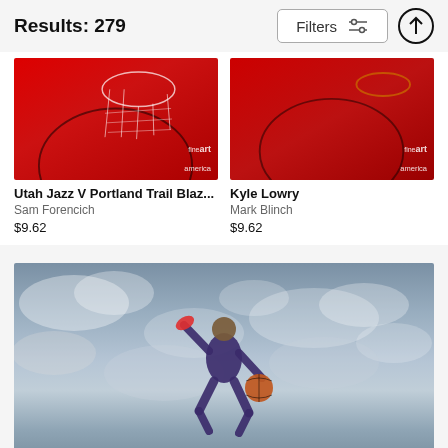Results: 279
[Figure (screenshot): Filters button with sliders icon and an upload/scroll-to-top arrow button]
[Figure (photo): Basketball photo - Utah Jazz V Portland Trail Blazers overhead court view, red court, players and net visible. Fine Art America watermark.]
Utah Jazz V Portland Trail Blaz...
Sam Forencich
$9.62
[Figure (photo): Basketball photo - Kyle Lowry overhead court view, red court, players visible. Fine Art America watermark.]
Kyle Lowry
Mark Blinch
$9.62
[Figure (photo): Basketball player in purple uniform jumping in the air with basketball against cloudy sky background. Portrait/promotional photo.]